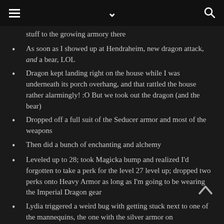[hamburger menu] [chevron down] [search icon]
stuff to the growing armory there
As soon as I showed up at Hendraheim, new dragon attack, and a bear, LOL
Dragon kept landing right on the house while I was underneath its porch overhang, and that rattled the house rather alarmingly! :O But we took out the dragon (and the bear)
Dropped off a full suit of the Seducer armor and most of the weapons
Then did a bunch of enchanting and alchemy
Leveled up to 28; took Magicka bump and realized I'd forgotten to take a perk for the level 27 level up; dropped two perks onto Heavy Armor as long as I'm going to be wearing the Imperial Dragon gear
Lydia triggered a weird bug with getting stuck next to one of the mannequins, the one with the silver armor on